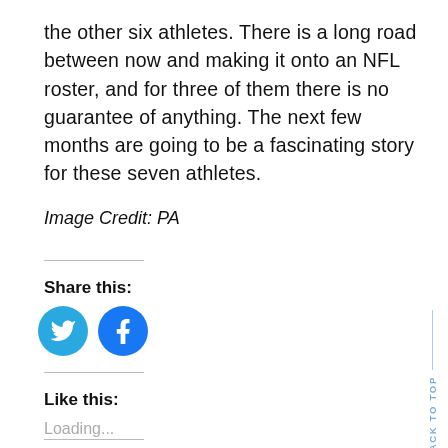the other six athletes. There is a long road between now and making it onto an NFL roster, and for three of them there is no guarantee of anything. The next few months are going to be a fascinating story for these seven athletes.
Image Credit: PA
Share this:
[Figure (illustration): Twitter and Facebook social share icon buttons (blue circles with white bird and f logos)]
Like this:
Loading...